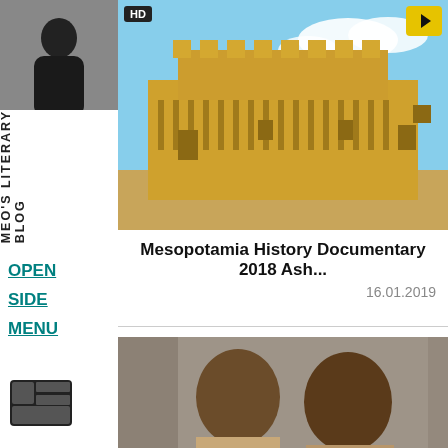[Figure (photo): Avatar silhouette of a person in dark clothing on grey background]
MEO'S LITERARY BLOG
OPEN SIDE MENU
[Figure (photo): Mesopotamia ancient castle/fortress building with HD badge and play button overlay]
Mesopotamia History Documentary 2018 Ash...
16.01.2019
[Figure (photo): Two men, appears to be a documentary or news screenshot]